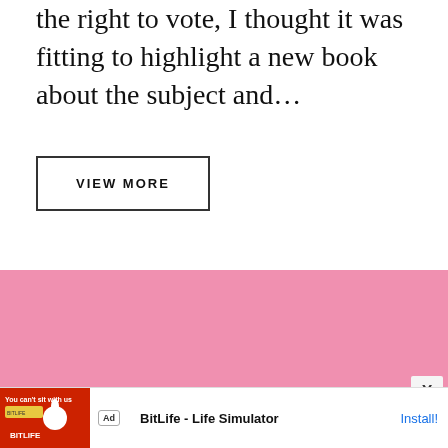the right to vote, I thought it was fitting to highlight a new book about the subject and…
VIEW MORE
[Figure (other): Pink rectangular advertisement block placeholder]
[Figure (screenshot): Bottom banner ad for BitLife - Life Simulator app with red background image showing sperm illustration and 'You can't sit with us' text, with Install button]